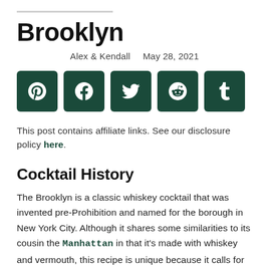Brooklyn
Alex & Kendall   May 28, 2021
[Figure (infographic): Row of five dark green social sharing buttons: Pinterest, Facebook, Twitter, Reddit, Tumblr]
This post contains affiliate links. See our disclosure policy here.
Cocktail History
The Brooklyn is a classic whiskey cocktail that was invented pre-Prohibition and named for the borough in New York City. Although it shares some similarities to its cousin the Manhattan in that it's made with whiskey and vermouth, this recipe is unique because it calls for Amer Picon, a bitter French liqueur made with orange peel, gentian root, cinchona, sugar, and caramel.